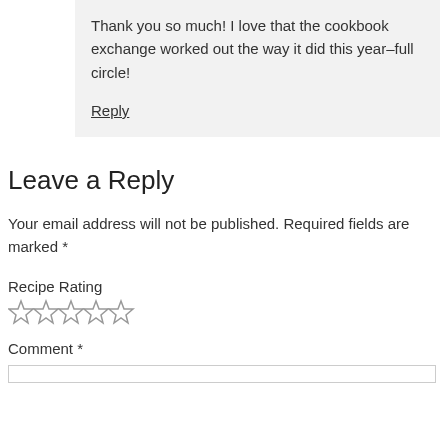Thank you so much! I love that the cookbook exchange worked out the way it did this year–full circle!
Reply
Leave a Reply
Your email address will not be published. Required fields are marked *
Recipe Rating
[Figure (other): Five empty star rating icons]
Comment *